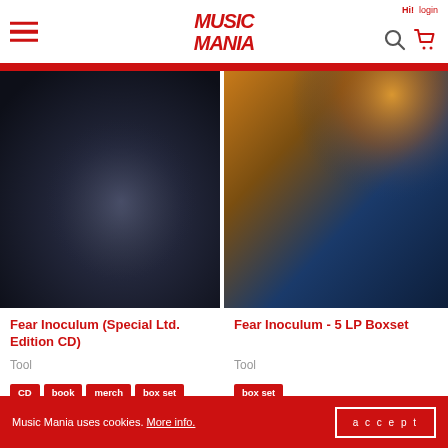Music Mania — HI! login
[Figure (photo): Album artwork for Fear Inoculum Special Ltd. Edition CD by Tool — dark gradient, near-black]
Fear Inoculum (Special Ltd. Edition CD)
Tool
CD  book  merch  box set
[Figure (photo): Album artwork for Fear Inoculum 5 LP Boxset by Tool — dark blue with amber/gold haze at top]
Fear Inoculum - 5 LP Boxset
Tool
box set
Music Mania uses cookies. More info. accept